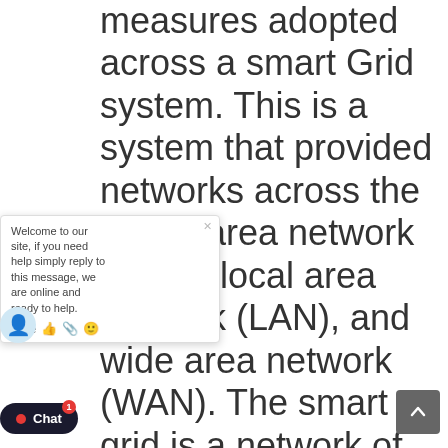measures adopted across a smart Grid system. This is a system that provided networks across the Home area network (HAN), local area network (LAN), and wide area network (WAN). The smart grid is a network of networks and the research assesses the existing power valuating the security cture of the Grid and olicy recommendation to ing the network security. The fining of the research ar applicable to CDN system
Welcome to our site, if you need help simply reply to this message, we are online and ready to help.